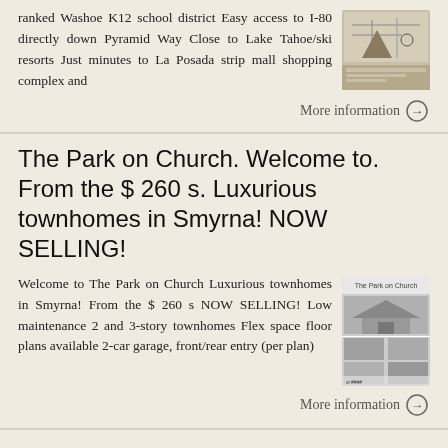ranked Washoe K12 school district Easy access to I-80 directly down Pyramid Way Close to Lake Tahoe/ski resorts Just minutes to La Posada strip mall shopping complex and
[Figure (photo): Thumbnail image showing a map or property photo related to the listing]
More information →
The Park on Church. Welcome to. From the $ 260 s. Luxurious townhomes in Smyrna! NOW SELLING!
Welcome to The Park on Church Luxurious townhomes in Smyrna! From the $ 260 s NOW SELLING! Low maintenance 2 and 3-story townhomes Flex space floor plans available 2-car garage, front/rear entry (per plan)
[Figure (photo): Thumbnail brochure image for The Park on Church townhomes showing property photos and text]
More information →
GREAT FEATURES 9 foot ceilings Lush